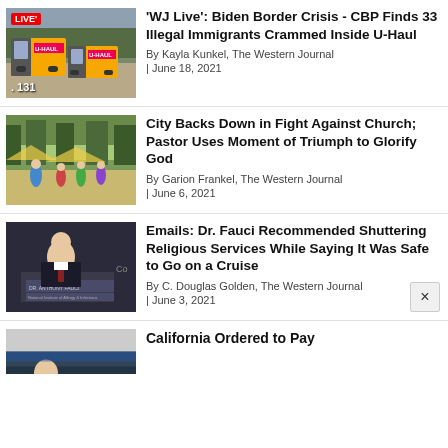[Figure (screenshot): Thumbnail of U-Haul trucks with LIVE badge and 131 count]
'WJ Live': Biden Border Crisis - CBP Finds 33 Illegal Immigrants Crammed Inside U-Haul
By Kayla Kunkel, The Western Journal
| June 18, 2021
[Figure (screenshot): Thumbnail of outdoor church gathering scene]
City Backs Down in Fight Against Church; Pastor Uses Moment of Triumph to Glorify God
By Garion Frankel, The Western Journal
| June 6, 2021
[Figure (screenshot): Thumbnail of Dr. Anthony Fauci testifying with nameplate visible]
Emails: Dr. Fauci Recommended Shuttering Religious Services While Saying It Was Safe to Go on a Cruise
By C. Douglas Golden, The Western Journal
| June 3, 2021
[Figure (screenshot): Thumbnail partially visible for California article]
California Ordered to Pay